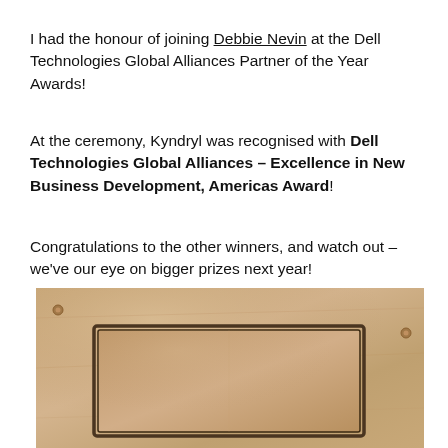I had the honour of joining Debbie Nevin at the Dell Technologies Global Alliances Partner of the Year Awards!
At the ceremony, Kyndryl was recognised with Dell Technologies Global Alliances – Excellence in New Business Development, Americas Award!
Congratulations to the other winners, and watch out – we've our eye on bigger prizes next year!
[Figure (photo): A photo of an award plaque – a metallic/golden framed certificate or trophy plaque, partially visible, with a rectangular inset frame on a golden/tan background.]